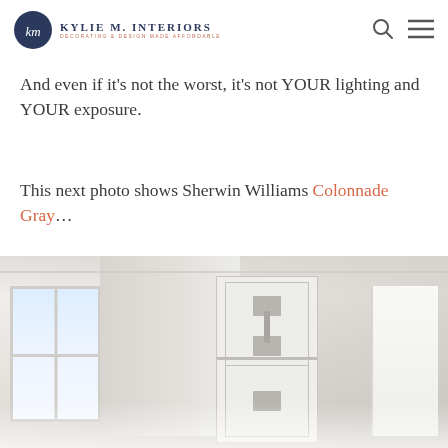KYLIE M. INTERIORS — DECORATING & DESIGN MADE AFFORDABLE
And even if it's not the worst, it's not YOUR lighting and YOUR exposure.
This next photo shows Sherwin Williams Colonnade Gray…
[Figure (photo): Interior kitchen photo showing white cabinets with glass panel doors and silver handles, a window with natural light on the left, and light gray walls — demonstrating Sherwin Williams Colonnade Gray paint color]